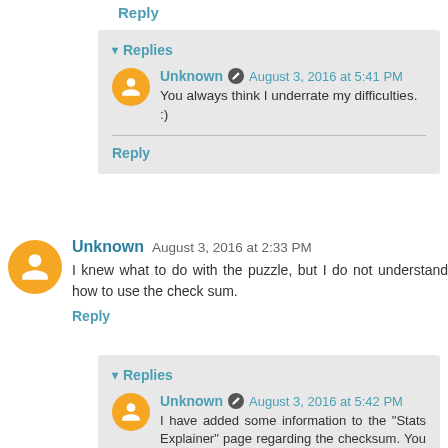Reply
▾ Replies
Unknown  August 3, 2016 at 5:41 PM
You always think I underrate my difficulties. :)
Reply
Unknown  August 3, 2016 at 2:33 PM
I knew what to do with the puzzle, but I do not understand how to use the check sum.
Reply
▾ Replies
Unknown  August 3, 2016 at 5:42 PM
I have added some information to the "Stats Explainer" page regarding the checksum. You can... see... that... here: